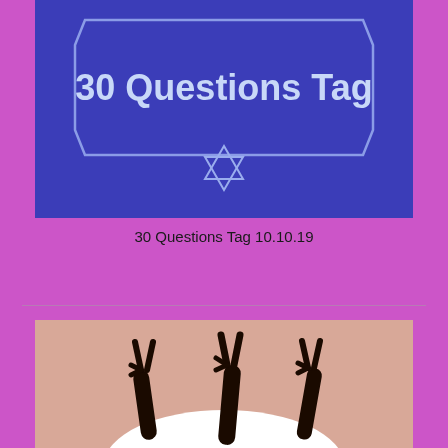[Figure (illustration): Blue banner with hexagon outline border containing bold white text '30 Questions Tag' and a Star of David outline below the text, on a purple/pink background]
30 Questions Tag 10.10.19
[Figure (photo): Photo of three dark-skinned arms raised up making peace/victory signs against a pinkish-beige background, with a white curved shape at the bottom]